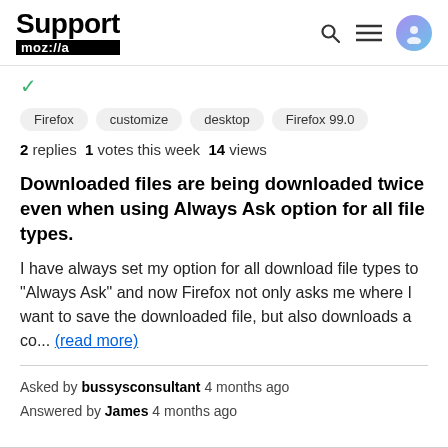Support moz://a
✓
Firefox
customize
desktop
Firefox 99.0
2 replies  1 votes this week  14 views
Downloaded files are being downloaded twice even when using Always Ask option for all file types.
I have always set my option for all download file types to "Always Ask" and now Firefox not only asks me where I want to save the downloaded file, but also downloads a co... (read more)
Asked by bussysconsultant 4 months ago
Answered by James 4 months ago